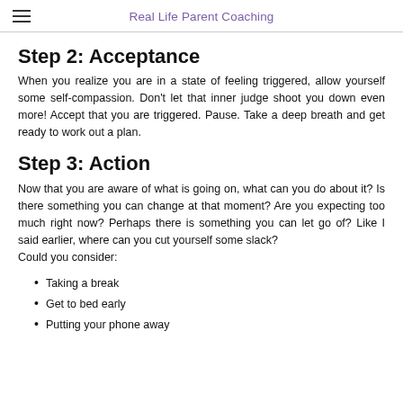Real Life Parent Coaching
Step 2: Acceptance
When you realize you are in a state of feeling triggered, allow yourself some self-compassion. Don't let that inner judge shoot you down even more! Accept that you are triggered. Pause. Take a deep breath and get ready to work out a plan.
Step 3: Action
Now that you are aware of what is going on, what can you do about it? Is there something you can change at that moment? Are you expecting too much right now? Perhaps there is something you can let go of? Like I said earlier, where can you cut yourself some slack?
Could you consider:
Taking a break
Get to bed early
Putting your phone away